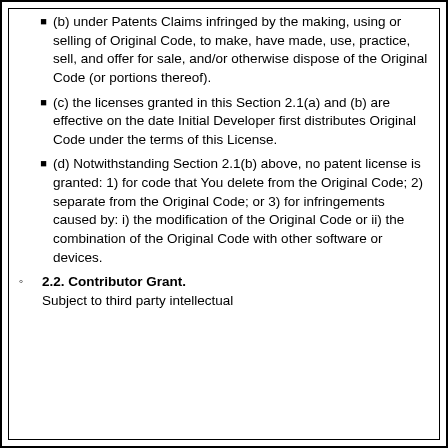(b) under Patents Claims infringed by the making, using or selling of Original Code, to make, have made, use, practice, sell, and offer for sale, and/or otherwise dispose of the Original Code (or portions thereof).
(c) the licenses granted in this Section 2.1(a) and (b) are effective on the date Initial Developer first distributes Original Code under the terms of this License.
(d) Notwithstanding Section 2.1(b) above, no patent license is granted: 1) for code that You delete from the Original Code; 2) separate from the Original Code; or 3) for infringements caused by: i) the modification of the Original Code or ii) the combination of the Original Code with other software or devices.
2.2. Contributor Grant. Subject to third party intellectual